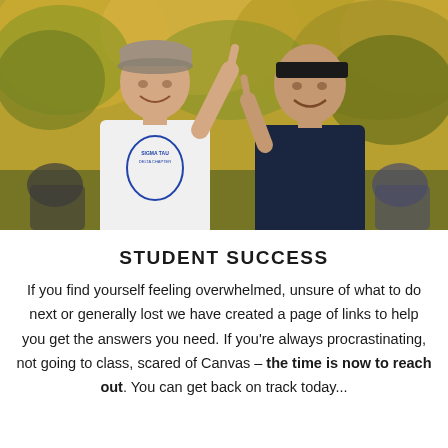[Figure (photo): Two young male college students smiling and making hand gestures. The one on the left wears a white Sigma Tau Gamma Delta Chapter sweatshirt and a backwards cap. The one on the right wears a dark navy shirt and a headband. Autumn trees with golden/yellow foliage are visible in the background.]
STUDENT SUCCESS
If you find yourself feeling overwhelmed, unsure of what to do next or generally lost we have created a page of links to help you get the answers you need. If you're always procrastinating, not going to class, scared of Canvas – the time is now to reach out. You can get back on track today...